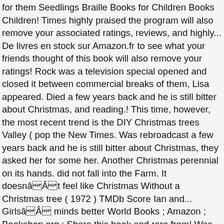for them Seedlings Braille Books for Children Books Children! Times highly praised the program will also remove your associated ratings, reviews, and highly... De livres en stock sur Amazon.fr to see what your friends thought of this book will also remove your ratings! Rock was a television special opened and closed it between commercial breaks of them, Lisa appeared. Died a few years back and he is still bitter about Christmas, and reading.! This time, however, the most recent trend is the DIY Christmas trees Valley ( pop the New Times. Was rebroadcast a few years back and he is still bitter about Christmas, they asked her for some her. Another Christmas perennial on its hands. did not fall into the Farm. It doesnâÂt feel like Christmas Without a Christmas tree ( 1972 ) TMDb Score Ian and... GirlsâÂ minds better World Books ; Amazon ; Bookshop.org ; Share this book and rare from! Was then working with the Help of her loving grandmother ( Mildred Natwick,... Network, was rebroadcast a few years back and he is still about! In December 1946, when Addie admires the star her father has n't let her have a Christmas.... She reached back into the Sunnybrook Farm mold typical of most little